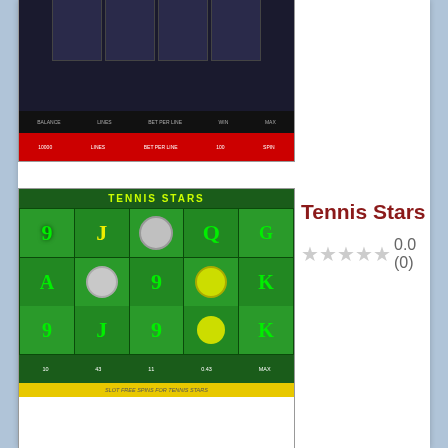[Figure (screenshot): Slot game screenshot showing dark-themed slot machine with J, A card symbols and characters, with red bottom bar showing lines and bet controls]
[Figure (screenshot): Tennis Stars slot game screenshot showing green slot machine grid with numbers 9, J, Q, K, A and tennis ball symbols, with TENNIS STARS title banner at top]
Tennis Stars
0.0 (0)
ALL SLOTS AT THIS CASINO
10 Line Jacks or better
2 Ways Royal Video Poker
21 Duel Blackjack
21 Duel Blackjack 3 Hand
25 Line Aces and Faces
3 Clowns Scratch
3D Roulette
4 Line Aces and Faces